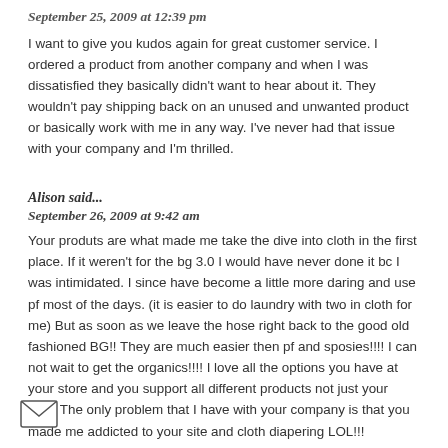September 25, 2009 at 12:39 pm
I want to give you kudos again for great customer service. I ordered a product from another company and when I was dissatisfied they basically didn't want to hear about it. They wouldn't pay shipping back on an unused and unwanted product or basically work with me in any way. I've never had that issue with your company and I'm thrilled.
Alison said...
September 26, 2009 at 9:42 am
Your produts are what made me take the dive into cloth in the first place. If it weren't for the bg 3.0 I would have never done it bc I was intimidated. I since have become a little more daring and use pf most of the days. (it is easier to do laundry with two in cloth for me) But as soon as we leave the hose right back to the good old fashioned BG!! They are much easier then pf and sposies!!!! I can not wait to get the organics!!!! I love all the options you have at your store and you support all different products not just your own. The only problem that I have with your company is that you made me addicted to your site and cloth diapering LOL!!